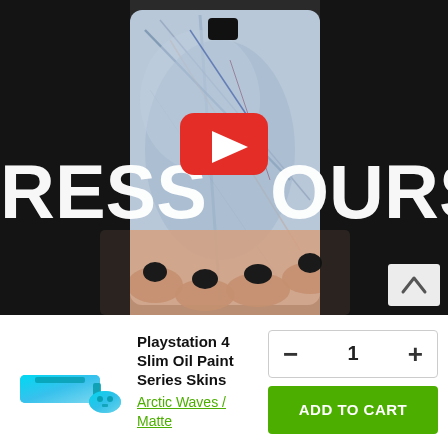[Figure (screenshot): A YouTube video thumbnail showing a person holding a smartphone with a marble-patterned skin. Large white bold text reads 'RESS OURS' (partly cropped, full text 'EXPRESS YOURS'). A red YouTube play button is centered over the image. A white scroll-up chevron button is at the bottom right.]
[Figure (photo): Small product image of a Playstation 4 Slim with Oil Paint Series Skin in Arctic Waves / Matte design — teal/blue artistic color scheme console and controller.]
Playstation 4 Slim Oil Paint Series Skins
Arctic Waves / Matte